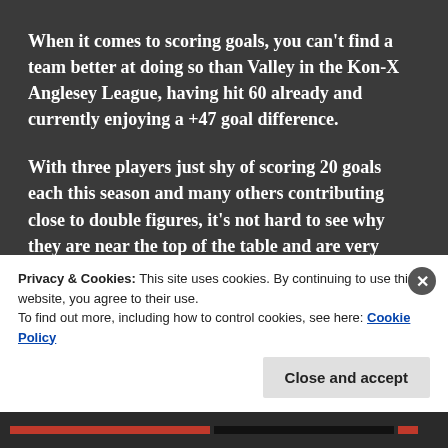When it comes to scoring goals, you can't find a team better at doing so than Valley in the Kon-X Anglesey League, having hit 60 already and currently enjoying a +47 goal difference.
With three players just shy of scoring 20 goals each this season and many others contributing close to double figures, it's not hard to see why they are near the top of the table and are very much fancied to challenge for the title.
Privacy & Cookies: This site uses cookies. By continuing to use this website, you agree to their use. To find out more, including how to control cookies, see here: Cookie Policy